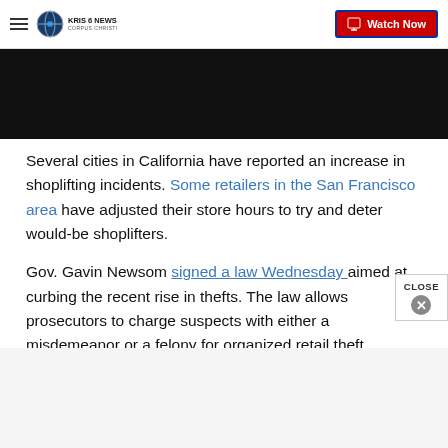KRIS 6 NEWS CORPUS CHRISTI — Watch Now
[Figure (screenshot): Dark video thumbnail/player area]
Several cities in California have reported an increase in shoplifting incidents. Some retailers in the San Francisco area have adjusted their store hours to try and deter would-be shoplifters.
Gov. Gavin Newsom signed a law Wednesday aimed at curbing the recent rise in thefts. The law allows prosecutors to charge suspects with either a misdemeanor or a felony for organized retail theft.